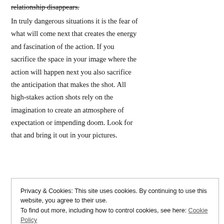relationship disappears.
In truly dangerous situations it is the fear of what will come next that creates the energy and fascination of the action. If you sacrifice the space in your image where the action will happen next you also sacrifice the anticipation that makes the shot. All high-stakes action shots rely on the imagination to create an atmosphere of expectation or impending doom. Look for that and bring it out in your pictures.
Privacy & Cookies: This site uses cookies. By continuing to use this website, you agree to their use.
To find out more, including how to control cookies, see here: Cookie Policy
Close and accept
imagination somewhere for the next